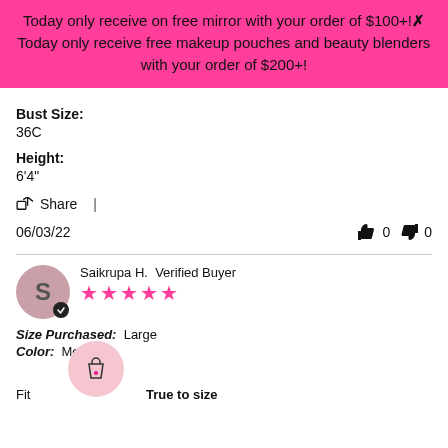Today only receive on free mirror with your order of $100+!✗ Today only receive free makeup pouches and beauty blenders with your order of $200+!
Bust Size: 36C
Height: 6'4"
Share |
06/03/22   👍 0   👎 0
Saikrupa H. Verified Buyer ★★★★★
Size Purchased: Large
Color: Medium
Fit: True to size